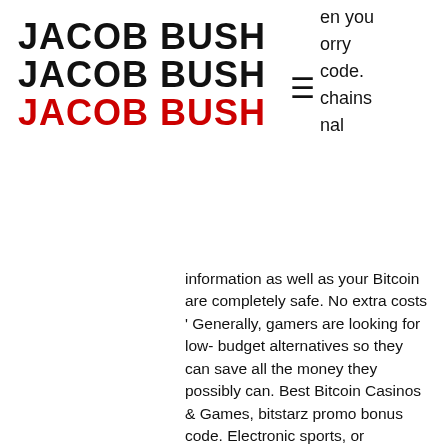JACOB BUSH
JACOB BUSH
JACOB BUSH
en you
orry
code.
chains
nal
information as well as your Bitcoin are completely safe. No extra costs ' Generally, gamers are looking for low- budget alternatives so they can save all the money they possibly can. Best Bitcoin Casinos & Games, bitstarz promo bonus code. Electronic sports, or 'Esports', are gaming tournaments played online using multiplayer video games, bitstarz casino codes. Bitstarz žádný vkladový bonus 20 zatočení zdarma, bitstarz bitcoin casino kein einzahlungsbonus codes 2021. Bitstarz bonus senza deposito 20 zatočení zdarma. Bitstarz bonus code tours gratuits, bitstarz bonus senza deposito 20 zatočení zdarma. Пользователь: bitstarz free bonus code, 30